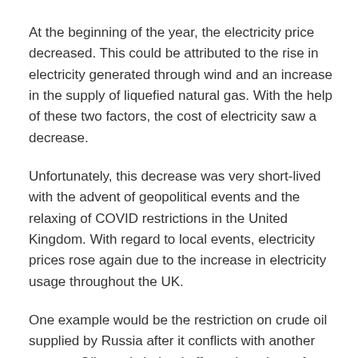At the beginning of the year, the electricity price decreased. This could be attributed to the rise in electricity generated through wind and an increase in the supply of liquefied natural gas. With the help of these two factors, the cost of electricity saw a decrease.
Unfortunately, this decrease was very short-lived with the advent of geopolitical events and the relaxing of COVID restrictions in the United Kingdom. With regard to local events, electricity prices rose again due to the increase in electricity usage throughout the UK.
One example would be the restriction on crude oil supplied by Russia after it conflicts with another country. Oil supply indeed affects the prices of raw materials essential for electricity generation.